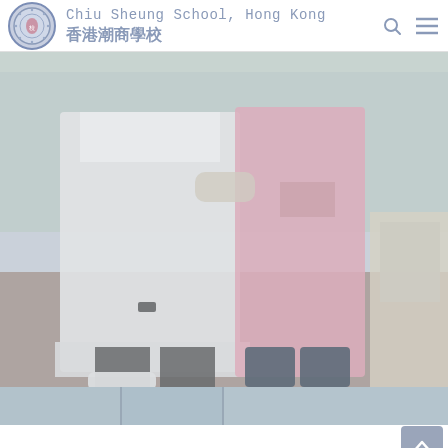Chiu Sheung School, Hong Kong 香港潮商學校
[Figure (photo): Two people standing side by side: one wearing a white lab coat and one wearing a pink apron, in what appears to be a school or classroom setting with a tiled floor and whiteboard in the background.]
[Figure (photo): Partial view of another photo, showing what appears to be a corridor or indoor school environment.]